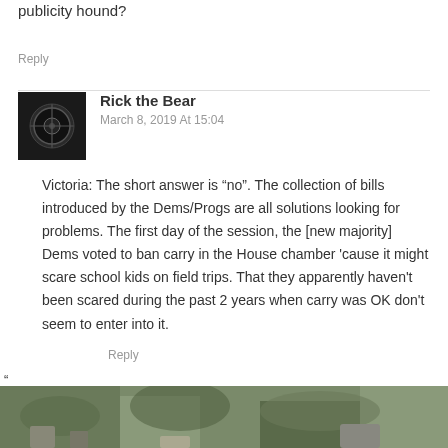publicity hound?
Reply
Rick the Bear
March 8, 2019 At 15:04
Victoria: The short answer is “no”. The collection of bills introduced by the Dems/Progs are all solutions looking for problems. The first day of the session, the [new majority] Dems voted to ban carry in the House chamber 'cause it might scare school kids on field trips. That they apparently haven't been scared during the past 2 years when carry was OK don't seem to enter into it.
Reply
“
[Figure (photo): Outdoor nature photo showing trees and rocky terrain, partially visible at bottom of page]